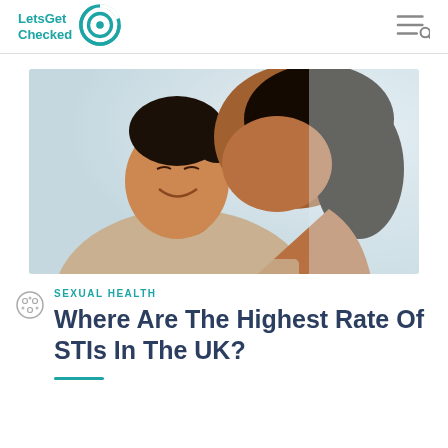LetsGet Checked
[Figure (photo): Two women embracing and smiling, one kissing the other on the cheek, warm and affectionate moment, light background]
SEXUAL HEALTH
Where Are The Highest Rate Of STIs In The UK?